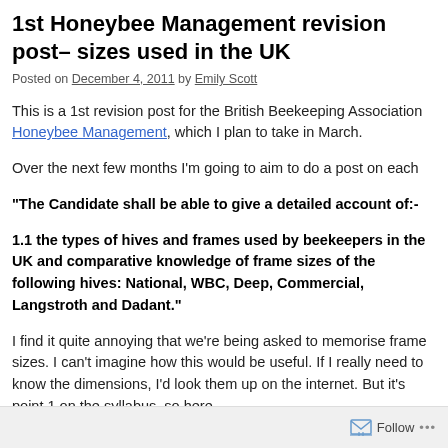1st Honeybee Management revision post – hive sizes used in the UK
Posted on December 4, 2011 by Emily Scott
This is a 1st revision post for the British Beekeeping Association Honeybee Management, which I plan to take in March.
Over the next few months I'm going to aim to do a post on each
“The Candidate shall be able to give a detailed account of:-
1.1 the types of hives and frames used by beekeepers in the UK and comparative knowledge of frame sizes of the following hives: National, WBC, Deep, Commercial, Langstroth and Dadant.”
I find it quite annoying that we’re being asked to memorise frame sizes. I can’t imagine how this would be useful. If I really need to know the dimensions, I’d look them up on the internet. But it’s point 1 on the syllabus, so here